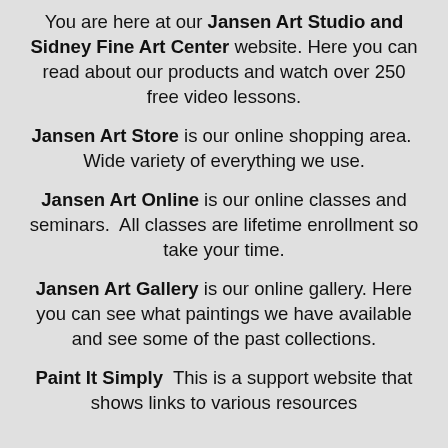You are here at our Jansen Art Studio and Sidney Fine Art Center website. Here you can read about our products and watch over 250 free video lessons.
Jansen Art Store is our online shopping area. Wide variety of everything we use.
Jansen Art Online is our online classes and seminars. All classes are lifetime enrollment so take your time.
Jansen Art Gallery is our online gallery. Here you can see what paintings we have available and see some of the past collections.
Paint It Simply This is a support website that shows links to various resources